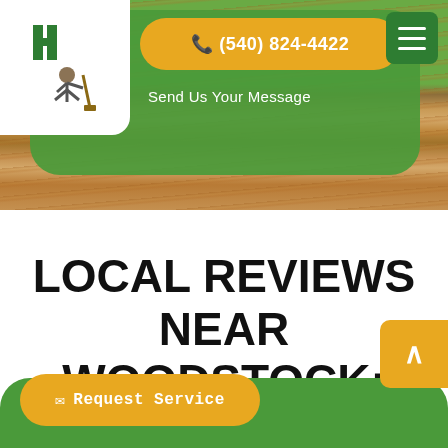[Figure (screenshot): Website header with green rounded banner, logo box in top-left, yellow phone pill showing (540) 824-4422, 'Send Us Your Message' link, hamburger menu in top-right, wood-texture background in lower header region]
LOCAL REVIEWS NEAR WOODSTOCK:
[Figure (screenshot): Bottom navigation bar with green rounded top, yellow 'Request Service' pill button with envelope icon on left, back-to-top orange button on right side]